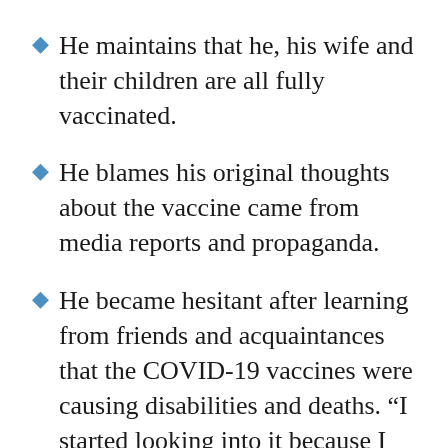He maintains that he, his wife and their children are all fully vaccinated.
He blames his original thoughts about the vaccine came from media reports and propaganda.
He became hesitant after learning from friends and acquaintances that the COVID-19 vaccines were causing disabilities and deaths. “I started looking into it because I knew my friends weren’t lying to me,” he said.
“What the data showed was